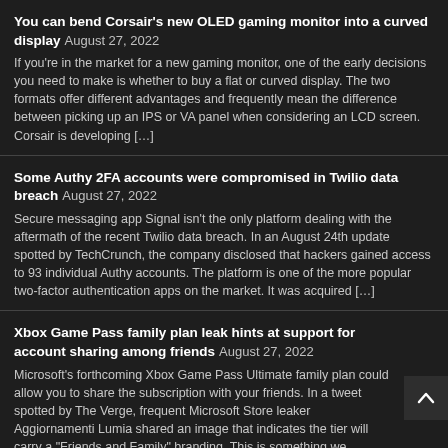You can bend Corsair's new OLED gaming monitor into a curved display August 27, 2022
If you're in the market for a new gaming monitor, one of the early decisions you need to make is whether to buy a flat or curved display. The two formats offer different advantages and frequently mean the difference between picking up an IPS or VA panel when considering an LCD screen. Corsair is developing […]
Some Authy 2FA accounts were compromised in Twilio data breach August 27, 2022
Secure messaging app Signal isn't the only platform dealing with the aftermath of the recent Twilio data breach. In an August 24th update spotted by TechCrunch, the company disclosed that hackers gained access to 93 individual Authy accounts. The platform is one of the more popular two-factor authentication apps on the market. It was acquired […]
Xbox Game Pass family plan leak hints at support for account sharing among friends August 27, 2022
Microsoft's forthcoming Xbox Game Pass Ultimate family plan could allow you to share the subscription with your friends. In a tweet spotted by The Verge, frequent Microsoft Store leaker Aggiornamenti Lumia shared an image that indicates the tier will carry a "Friends and Family" branding. This is something we thought the company was working towards. […]
Netflix with ads could cost between $7 and $9 per month